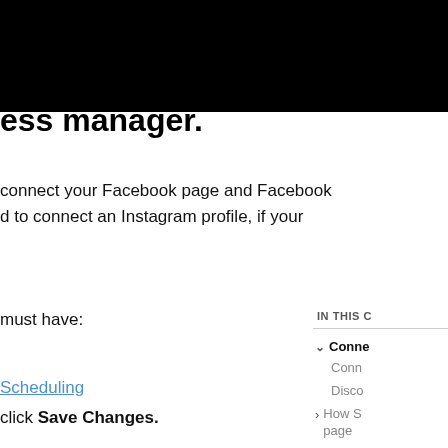[Figure (other): Black header bar at the top of the page]
ess manager.
connect your Facebook page and Facebook
d to connect an Instagram profile, if your
must have:
IN THIS C
Scheduling
Conne
Conn
Disco
How Sc page
click Save Changes.
Facebo